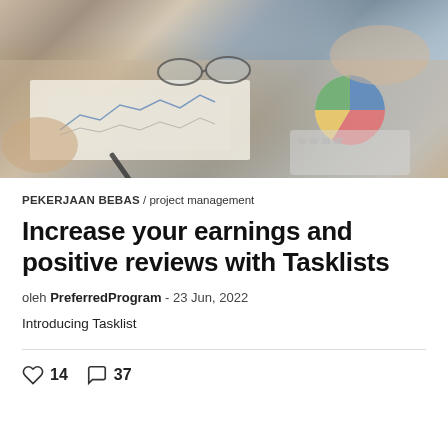[Figure (photo): Business meeting photo showing hands reviewing charts and graphs on paper documents, with glasses and a pen visible on a desk]
PEKERJAAN BEBAS / project management
Increase your earnings and positive reviews with Tasklists
oleh PreferredProgram - 23 Jun, 2022
Introducing Tasklist
♡ 14   ○ 37